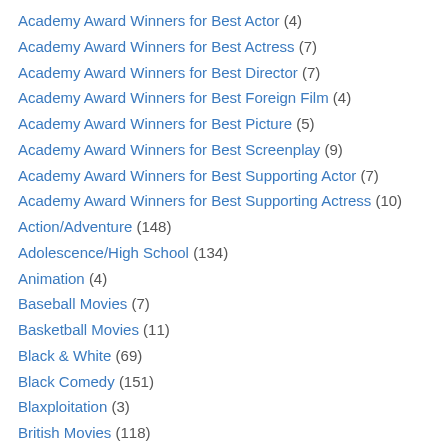Academy Award Winners for Best Actor (4)
Academy Award Winners for Best Actress (7)
Academy Award Winners for Best Director (7)
Academy Award Winners for Best Foreign Film (4)
Academy Award Winners for Best Picture (5)
Academy Award Winners for Best Screenplay (9)
Academy Award Winners for Best Supporting Actor (7)
Academy Award Winners for Best Supporting Actress (10)
Action/Adventure (148)
Adolescence/High School (134)
Animation (4)
Baseball Movies (7)
Basketball Movies (11)
Black & White (69)
Black Comedy (151)
Blaxploitation (3)
British Movies (118)
Bronson/Ireland (12)
Buddy Movies (108)
Campy Comedy (108)